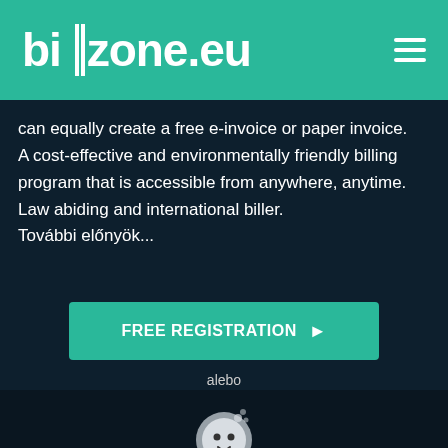billzone.eu
can equally create a free e-invoice or paper invoice. A cost-effective and environmentally friendly billing program that is accessible from anywhere, anytime. Law abiding and international biller.
További előnyök...
FREE REGISTRATION ▶
alebo
VYSKÚŠAŤ*
*Sandbox testovací systém
[Figure (logo): Circular bee/panda mascot logo icon]
NECESSARY COOKIES
ANALYSIS COOKIES (RECOMMENDED)